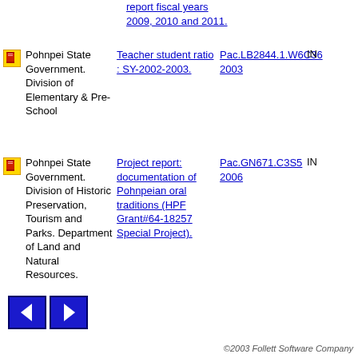report fiscal years 2009, 2010 and 2011.
Pohnpei State Government. Division of Elementary & Pre-School | Teacher student ratio : SY-2002-2003. | Pac.LB2844.1.W6C36 2003 | IN
Pohnpei State Government. Division of Historic Preservation, Tourism and Parks. Department of Land and Natural Resources. | Project report: documentation of Pohnpeian oral traditions (HPF Grant#64-18257 Special Project). | Pac.GN671.C3S5 2006 | IN
©2003 Follett Software Company